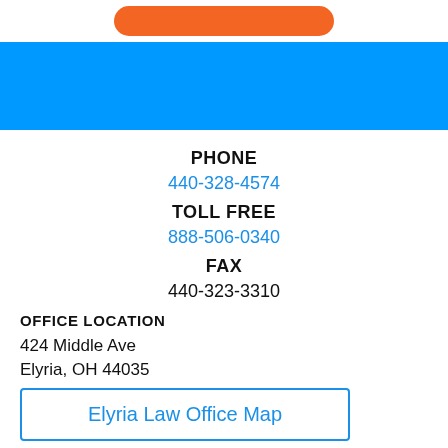[Figure (logo): Partial logo shape at top — orange rounded pill/oval shape on white background]
[Figure (other): Blue banner bar across full width]
PHONE
440-328-4574
TOLL FREE
888-506-0340
FAX
440-323-3310
OFFICE LOCATION
424 Middle Ave
Elyria, OH 44035
Elyria Law Office Map
Follow